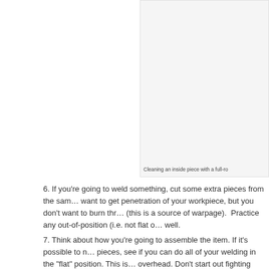[Figure (photo): Photo of cleaning an inside piece with a full-round tool or similar instrument]
Cleaning an inside piece with a full-ro
6. If you're going to weld something, cut some extra pieces from the same material and practice on those first. You want to get penetration of your workpiece, but you don't want to burn through it or put too much heat into it (this is a source of warpage).  Practice any out-of-position (i.e. not flat on a table) welding you'll need to do as well.
7. Think about how you're going to assemble the item. If it's possible to make sub-assemblies of smaller pieces, see if you can do all of your welding in the "flat" position. This is easier than vertical or overhead. Don't start out fighting gravity if you don't have to.